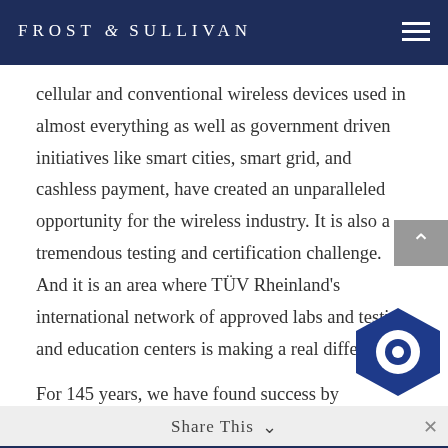FROST & SULLIVAN
cellular and conventional wireless devices used in almost everything as well as government driven initiatives like smart cities, smart grid, and cashless payment, have created an unparalleled opportunity for the wireless industry. It is also a tremendous testing and certification challenge. And it is an area where TÜV Rheinland's international network of approved labs and testing and education centers is making a real difference.
For 145 years, we have found success by following our guiding principles of developing safety and quality solutions. We intend to continue following that philosophy in the years to come.
Share This